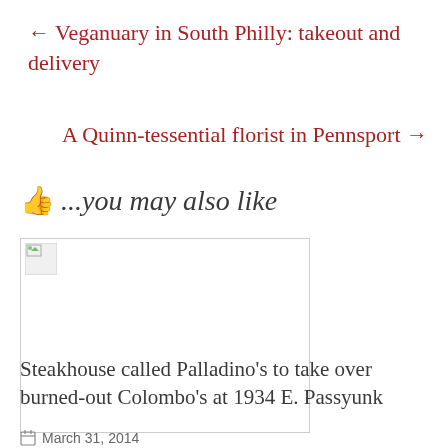← Veganuary in South Philly: takeout and delivery
A Quinn-tessential florist in Pennsport →
👍 ...you may also like
[Figure (photo): Broken/missing image placeholder thumbnail]
Steakhouse called Palladino's to take over burned-out Colombo's at 1934 E. Passyunk
March 31, 2014